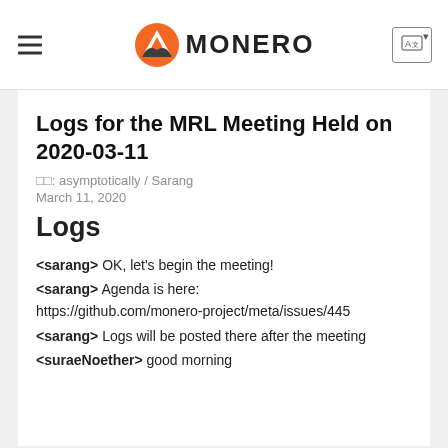MONERO
Logs for the MRL Meeting Held on 2020-03-11
□□: asymptotically / Sarang
March 11, 2020
Logs
<sarang> OK, let's begin the meeting!
<sarang> Agenda is here: https://github.com/monero-project/meta/issues/445
<sarang> Logs will be posted there after the meeting
<suraeNoether> good morning